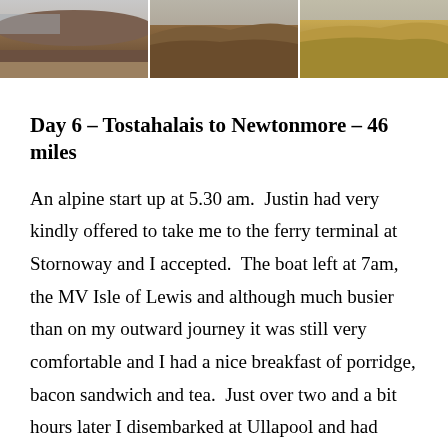[Figure (photo): Three landscape photographs arranged in a horizontal strip at the top of the page, showing moorland and coastal scenery. Left: brown rocky hillside with water. Center: brown moorland terrain. Right: golden-brown grass/heather.]
Day 6 – Tostahalais to Newtonmore – 46 miles
An alpine start up at 5.30 am.  Justin had very kindly offered to take me to the ferry terminal at Stornoway and I accepted.  The boat left at 7am, the MV Isle of Lewis and although much busier than on my outward journey it was still very comfortable and I had a nice breakfast of porridge, bacon sandwich and tea.  Just over two and a bit hours later I disembarked at Ullapool and had coffee and cake while the ferry folk blasted off towards Inverness in their cars and lorries.  The day was dry and I plodded onward across the spine of the